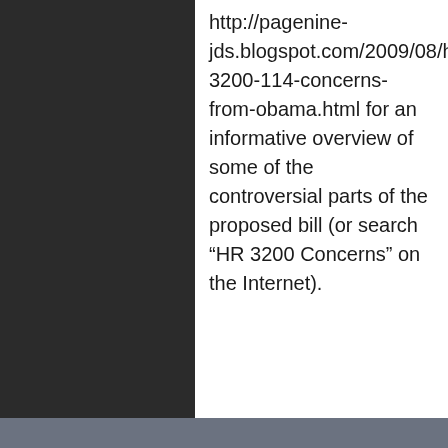http://pagenine-jds.blogspot.com/2009/08/hr-3200-114-concerns-from-obama.html for an informative overview of some of the controversial parts of the proposed bill (or search “HR 3200 Concerns” on the Internet).